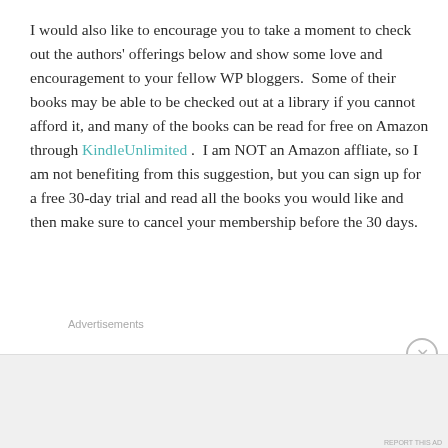I would also like to encourage you to take a moment to check out the authors' offerings below and show some love and encouragement to your fellow WP bloggers.  Some of their books may be able to be checked out at a library if you cannot afford it, and many of the books can be read for free on Amazon through KindleUnlimited .  I am NOT an Amazon affliate, so I am not benefiting from this suggestion, but you can sign up for a free 30-day trial and read all the books you would like and then make sure to cancel your membership before the 30 days.
Advertisements
Advertisements
[Figure (other): DuckDuckGo advertisement banner: orange left panel with text 'Search, browse, and email with more privacy. All in One Free App', dark right panel with DuckDuckGo duck logo and brand name]